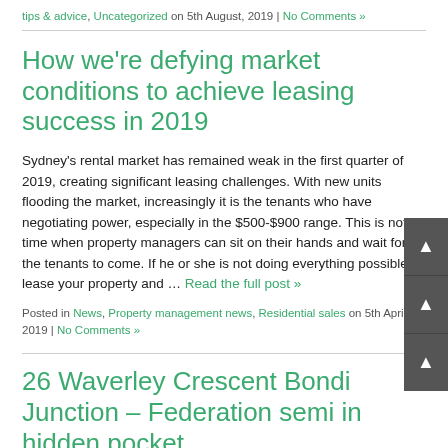tips & advice, Uncategorized on 5th August, 2019 | No Comments »
How we're defying market conditions to achieve leasing success in 2019
Sydney's rental market has remained weak in the first quarter of 2019, creating significant leasing challenges. With new units flooding the market, increasingly it is the tenants who have negotiating power, especially in the $500-$900 range. This is not a time when property managers can sit on their hands and wait for the tenants to come. If he or she is not doing everything possible to lease your property and … Read the full post »
Posted in News, Property management news, Residential sales on 5th April 2019 | No Comments »
26 Waverley Crescent Bondi Junction – Federation semi in hidden pocket